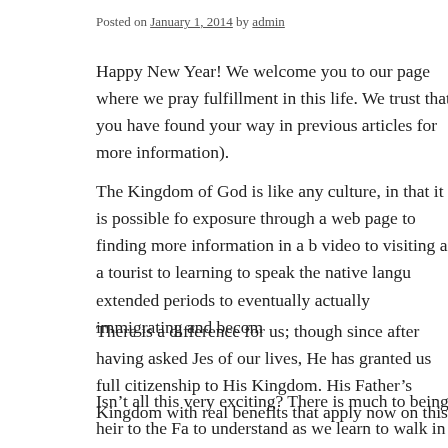Posted on January 1, 2014 by admin
Happy New Year! We welcome you to our page where we pray fulfillment in this life. We trust that you have found your way in previous articles for more information).
The Kingdom of God is like any culture, in that it is possible for exposure through a web page to finding more information in a b video to visiting as a tourist to learning to speak the native langu extended periods to eventually actually immigrating and becom
There is a difference for us; though since after having asked Jes of our lives, He has granted us full citizenship to His Kingdom. His Father’s Kingdom with real benefits that apply now on this
Isn’t all this very exciting? There is much to being heir to the Fa to understand as we learn to walk in it each and every day of ou of the Lord through His Holy Spirit in us. Generally, the process learning in order for us to grow into the wisdom and maturity re